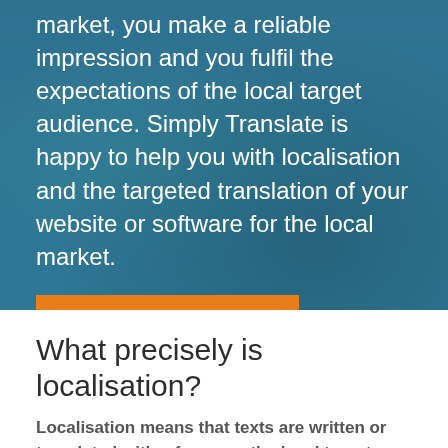market, you make a reliable impression and you fulfil the expectations of the local target audience. Simply Translate is happy to help you with localisation and the targeted translation of your website or software for the local market.
Request a quotation
What precisely is localisation?
Localisation means that texts are written or translated with a focus on the local target